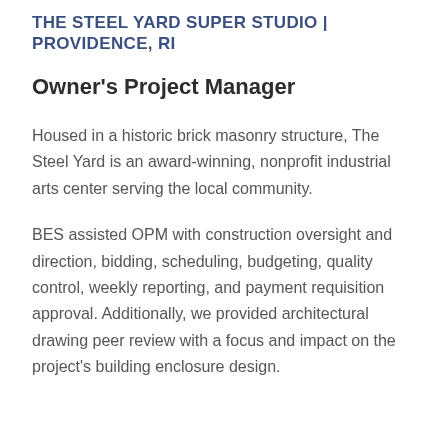THE STEEL YARD SUPER STUDIO | PROVIDENCE, RI
Owner's Project Manager
Housed in a historic brick masonry structure, The Steel Yard is an award-winning, nonprofit industrial arts center serving the local community.
BES assisted OPM with construction oversight and direction, bidding, scheduling, budgeting, quality control, weekly reporting, and payment requisition approval. Additionally, we provided architectural drawing peer review with a focus and impact on the project's building enclosure design.